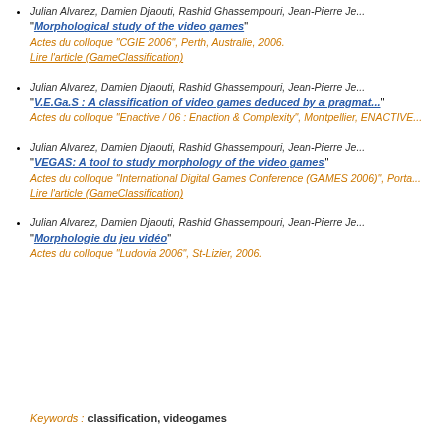Julian Alvarez, Damien Djaouti, Rashid Ghassempouri, Jean-Pierre Je... "Morphological study of the video games" Actes du colloque "CGIE 2006", Perth, Australie, 2006. Lire l'article (GameClassification)
Julian Alvarez, Damien Djaouti, Rashid Ghassempouri, Jean-Pierre Je... "V.E.Ga.S : A classification of video games deduced by a pragmat..." Actes du colloque "Enactive / 06 : Enaction & Complexity", Montpellier, ENACTIVE...
Julian Alvarez, Damien Djaouti, Rashid Ghassempouri, Jean-Pierre Je... "VEGAS: A tool to study morphology of the video games" Actes du colloque "International Digital Games Conference (GAMES 2006)", Porta... Lire l'article (GameClassification)
Julian Alvarez, Damien Djaouti, Rashid Ghassempouri, Jean-Pierre Je... "Morphologie du jeu vidéo" Actes du colloque "Ludovia 2006", St-Lizier, 2006.
Keywords : classification, videogames